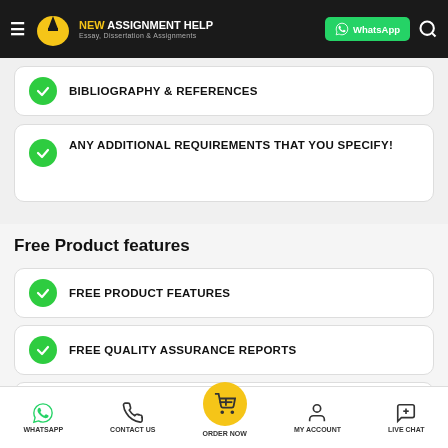[Figure (screenshot): Navigation bar with New Assignment Help logo, WhatsApp button, and search icon]
BIBLIOGRAPHY & REFERENCES
ANY ADDITIONAL REQUIREMENTS THAT YOU SPECIFY!
Free Product features
FREE PRODUCT FEATURES
FREE QUALITY ASSURANCE REPORTS
WHATSAPP  CONTACT US  ORDER NOW  MY ACCOUNT  LIVE CHAT